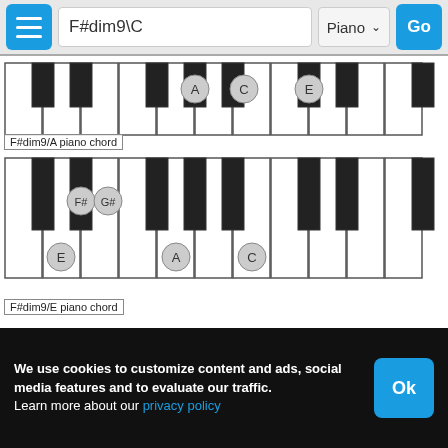F#dim9\C | Piano | Go
[Figure (illustration): Piano keyboard diagram showing F#dim9/A chord with notes A, C, E highlighted on black keys]
F#dim9/A piano chord
[Figure (illustration): Piano keyboard diagram showing F#dim9/E chord with notes E, F#, G#, A, C highlighted]
F#dim9/E piano chord
We use cookies to customize content and ads, social media features and to evaluate our traffic.
Learn more about our privacy policy